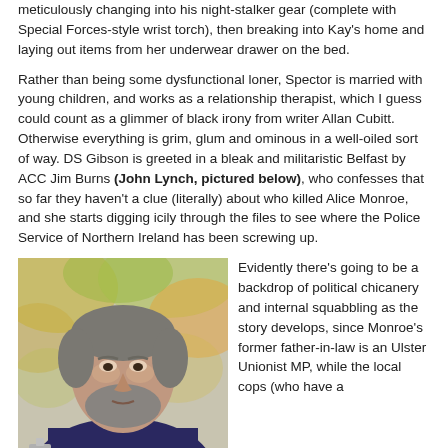meticulously changing into his night-stalker gear (complete with Special Forces-style wrist torch), then breaking into Kay's home and laying out items from her underwear drawer on the bed.
Rather than being some dysfunctional loner, Spector is married with young children, and works as a relationship therapist, which I guess could count as a glimmer of black irony from writer Allan Cubitt. Otherwise everything is grim, glum and ominous in a well-oiled sort of way. DS Gibson is greeted in a bleak and militaristic Belfast by ACC Jim Burns (John Lynch, pictured below), who confesses that so far they haven't a clue (literally) about who killed Alice Monroe, and she starts digging icily through the files to see where the Police Service of Northern Ireland has been screwing up.
[Figure (photo): A middle-aged man with grey hair and a beard wearing a dark navy blue sweater, seated outdoors with a blurred green and orange background. He appears to be John Lynch.]
Evidently there's going to be a backdrop of political chicanery and internal squabbling as the story develops, since Monroe's former father-in-law is an Ulster Unionist MP, while the local cops (who have a